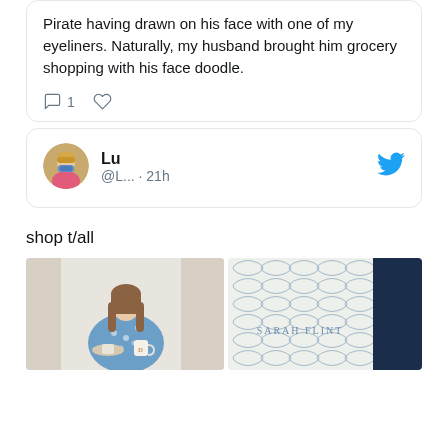Pirate having drawn on his face with one of my eyeliners. Naturally, my husband brought him grocery shopping with his face doodle.
[Figure (screenshot): Tweet action icons: reply (speech bubble) with count 1, and heart/like icon]
[Figure (screenshot): Twitter user card showing avatar of woman in pink top with blue mask, username Lu, handle @L..., posted 21h ago, with Twitter bird logo]
shop t/all
[Figure (photo): Woman in blue floral top holding a mug and plate with pastries]
[Figure (photo): Sarah Flint branded product with blue and white geometric pattern design and dark navy packaging]